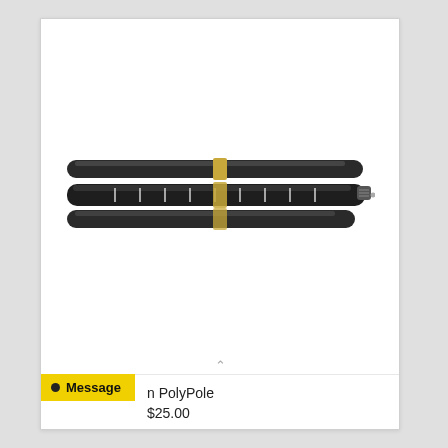[Figure (photo): A bundle of black cylindrical tent or pole sections (PolyPole) secured together with a golden/tan rubber band or elastic strap, lying horizontally. The poles have small white markings/indicators along their length. The bundle has a threaded connector visible at the right end.]
n PolyPole
$25.00